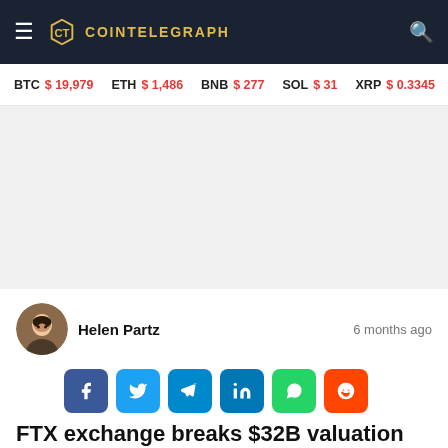COINTELEGRAPH
BTC $19,979  ETH $1,486  BNB $277  SOL $31  XRP $0.3345  BCH $...
[Figure (photo): Blank/advertisement placeholder area]
Helen Partz   6 months ago
[Figure (infographic): Social share buttons: Facebook, Twitter, Telegram, LinkedIn, WhatsApp, Reddit]
FTX exchange breaks $32B valuation inter...